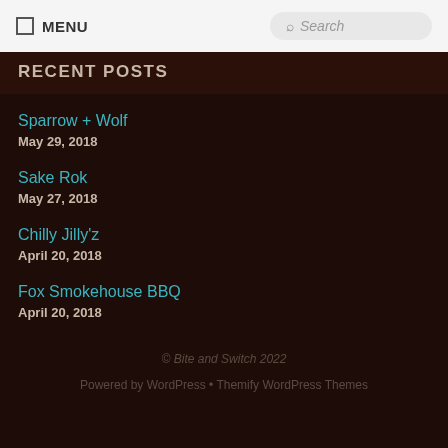MENU | Search
RECENT POSTS
Sparrow + Wolf
May 29, 2018
Sake Rok
May 27, 2018
Chilly Jilly'z
April 20, 2018
Fox Smokehouse BBQ
April 20, 2018
© Bite and Switch 2022
Powered by WordPress • Themify WordPress Themes